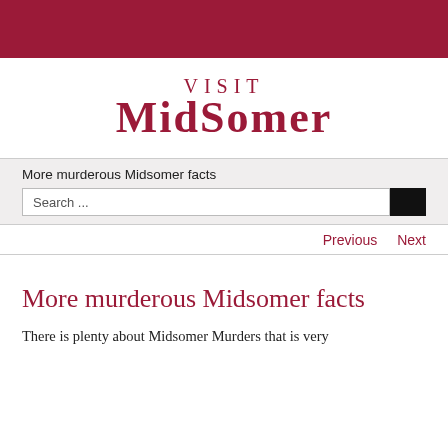[Figure (logo): Visit Midsomer logo in dark red/crimson text on white background, with a dark red header bar above]
More murderous Midsomer facts
Search ...
Previous   Next
More murderous Midsomer facts
There is plenty about Midsomer Murders that is very